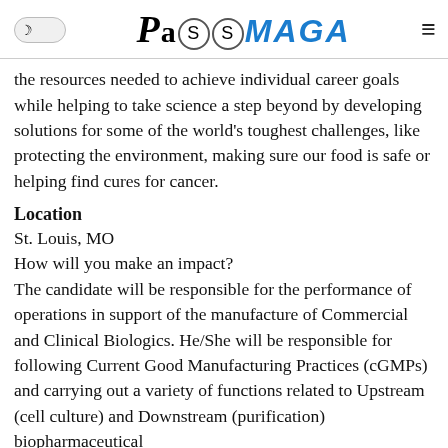PassMaga
the resources needed to achieve individual career goals while helping to take science a step beyond by developing solutions for some of the world's toughest challenges, like protecting the environment, making sure our food is safe or helping find cures for cancer.
Location
St. Louis, MO
How will you make an impact?
The candidate will be responsible for the performance of operations in support of the manufacture of Commercial and Clinical Biologics. He/She will be responsible for following Current Good Manufacturing Practices (cGMPs) and carrying out a variety of functions related to Upstream (cell culture) and Downstream (purification) biopharmaceutical manufacturing. These functions may include, but are not...